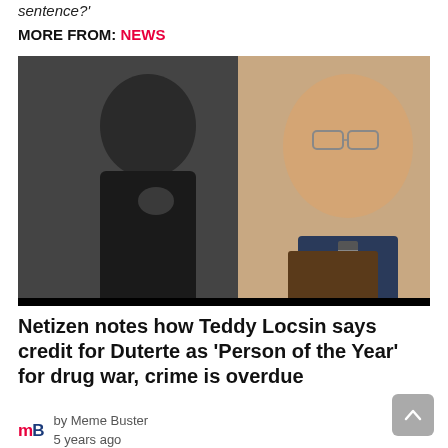sentence?'
MORE FROM: NEWS
[Figure (photo): Composite photo: left side black-and-white image of a man in a dark suit seated and resting his chin on his hand; right side color image of a smiling man wearing glasses and a striped tie holding a folder.]
Netizen notes how Teddy Locsin says credit for Duterte as 'Person of the Year' for drug war, crime is overdue
by Meme Buster
5 years ago